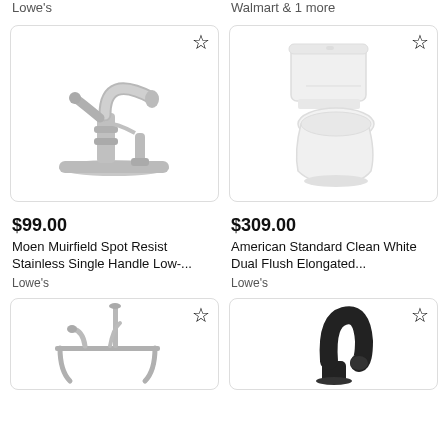Lowe's
Walmart & 1 more
[Figure (photo): Moen Muirfield Spot Resist Stainless Single Handle Low-arc kitchen faucet with side sprayer]
[Figure (photo): American Standard Clean White Dual Flush Elongated toilet]
$99.00
Moen Muirfield Spot Resist Stainless Single Handle Low-...
Lowe's
$309.00
American Standard Clean White Dual Flush Elongated...
Lowe's
[Figure (photo): Clawfoot tub faucet with shower attachment, brushed nickel finish]
[Figure (photo): Black curved faucet or pipe fitting]